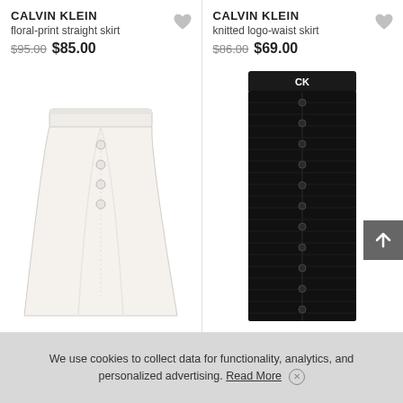CALVIN KLEIN
floral-print straight skirt
$95.00 $85.00
[Figure (photo): White floral-print straight skirt with button front detail]
CALVIN KLEIN
knitted logo-waist skirt
$86.00 $69.00
[Figure (photo): Black knitted logo-waist skirt with CK logo waistband and button front]
We use cookies to collect data for functionality, analytics, and personalized advertising. Read More